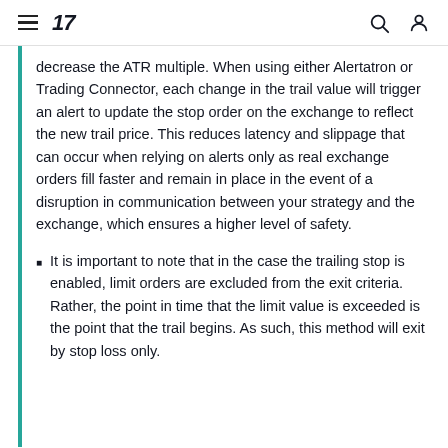TradingView navigation header
decrease the ATR multiple. When using either Alertatron or Trading Connector, each change in the trail value will trigger an alert to update the stop order on the exchange to reflect the new trail price. This reduces latency and slippage that can occur when relying on alerts only as real exchange orders fill faster and remain in place in the event of a disruption in communication between your strategy and the exchange, which ensures a higher level of safety.
It is important to note that in the case the trailing stop is enabled, limit orders are excluded from the exit criteria. Rather, the point in time that the limit value is exceeded is the point that the trail begins. As such, this method will exit by stop loss only.